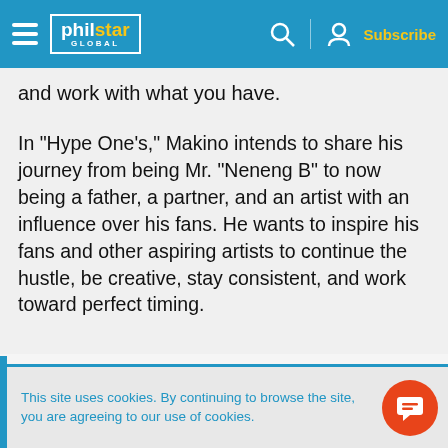philstar GLOBAL — Subscribe
and work with what you have.
In "Hype One's," Makino intends to share his journey from being Mr. “Neneng B” to now being a father, a partner, and an artist with an influence over his fans. He wants to inspire his fans and other aspiring artists to continue the hustle, be creative, stay consistent, and work toward perfect timing.
[Figure (infographic): Social sharing icons: Facebook, Messenger, Twitter in blue]
This site uses cookies. By continuing to browse the site, you are agreeing to our use of cookies.